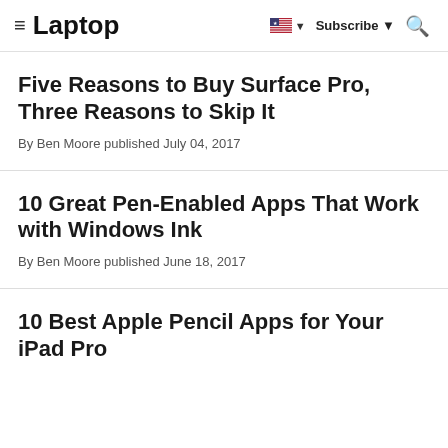Laptop
Five Reasons to Buy Surface Pro, Three Reasons to Skip It
By Ben Moore published July 04, 2017
10 Great Pen-Enabled Apps That Work with Windows Ink
By Ben Moore published June 18, 2017
10 Best Apple Pencil Apps for Your iPad Pro